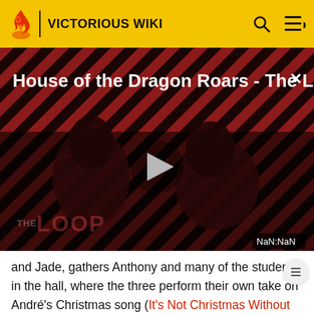VICTORIOUS WIKI
[Figure (screenshot): Video player showing 'House of the Dragon Roars - The L...' with a play button in the center, striped red/dark background with two silhouetted figures, THE LOOP watermark, and NaN:NaN timestamp in the bottom right corner.]
and Jade, gathers Anthony and many of the students in the hall, where the three perform their own take on André's Christmas song (It's Not Christmas Without You) to try to show Anthony that it's worth a better grade. Eventually, André joins in and sings with them as well.